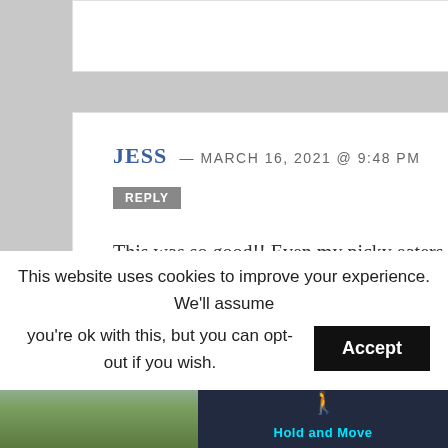JESS — MARCH 16, 2021 @ 9:48 PM
REPLY
This was so good!! Even my picky eaters gobbled it up! I used my air fryer and it came out just like fried chicken with fabulous flavor.
★★★★★
This website uses cookies to improve your experience. We'll assume you're ok with this, but you can opt-out if you wish. Accept
[Figure (photo): Advertisement overlay showing a mobile game called 'Hold and Move' with trees in background, blue top bar with +20 and -32 indicators, and close/question mark icons]